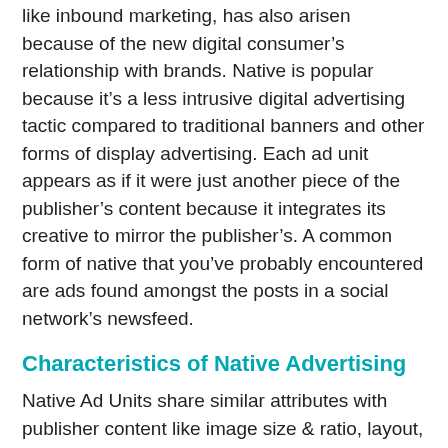like inbound marketing, has also arisen because of the new digital consumer's relationship with brands. Native is popular because it's a less intrusive digital advertising tactic compared to traditional banners and other forms of display advertising. Each ad unit appears as if it were just another piece of the publisher's content because it integrates its creative to mirror the publisher's. A common form of native that you've probably encountered are ads found amongst the posts in a social network's newsfeed.
Characteristics of Native Advertising
Native Ad Units share similar attributes with publisher content like image size & ratio, layout, headline, caption, font colors and style. The key differences lie in that native ads also include ad labels. If you manage to sell your brand in an original way and offer content that resonates, you can illustrate to your